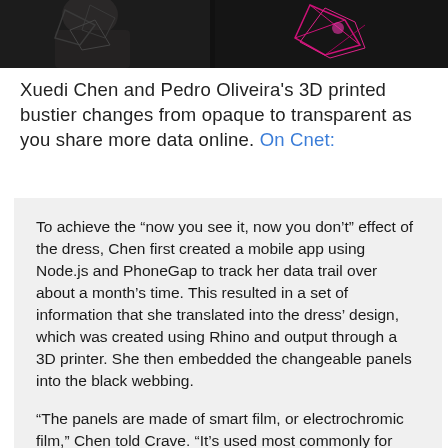[Figure (photo): Two cropped photos side by side showing a 3D printed bustier garment on a dark background — left shows a person wearing the geometric patterned bustier, right shows a detail of the pink/magenta geometric structure against dark background.]
Xuedi Chen and Pedro Oliveira's 3D printed bustier changes from opaque to transparent as you share more data online. On Cnet:
To achieve the “now you see it, now you don’t” effect of the dress, Chen first created a mobile app using Node.js and PhoneGap to track her data trail over about a month’s time. This resulted in a set of information that she translated into the dress’ design, which was created using Rhino and output through a 3D printer. She then embedded the changeable panels into the black webbing.

“The panels are made of smart film, or electrochromic film,” Chen told Crave. “It’s used most commonly for privacy glass. “The film is opaque when off, and running a specific amount of electricity through it